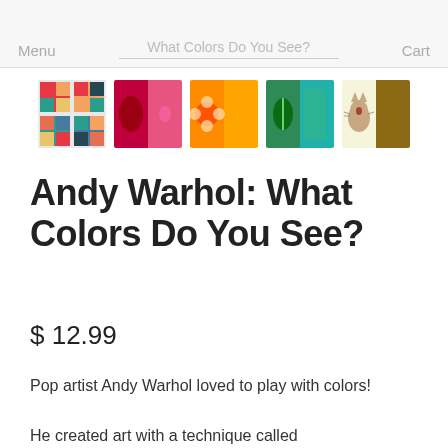Menu   What Colors Do You See?   Cart
[Figure (illustration): Row of 5 book thumbnail images for Andy Warhol: What Colors Do You See? — first shows a grid of colorful Campbell's soup can style panels, second shows a pink/magenta cow or animal on pink, third shows an orange flower on orange, fourth shows a teal leaf/flower on green, fifth shows a beige/brown cat on brown]
Andy Warhol: What Colors Do You See?
$ 12.99
Pop artist Andy Warhol loved to play with colors!
He created art with a technique called